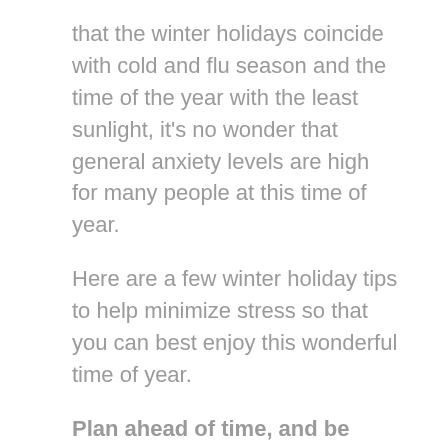that the winter holidays coincide with cold and flu season and the time of the year with the least sunlight, it's no wonder that general anxiety levels are high for many people at this time of year.
Here are a few winter holiday tips to help minimize stress so that you can best enjoy this wonderful time of year.
Plan ahead of time, and be flexible. Planning ahead can reduce stress during the holiday season. Try deciding ahead of time how much to spend on gifts, what to pack for travel, and what to cook for a large meal. Getting as much prepared